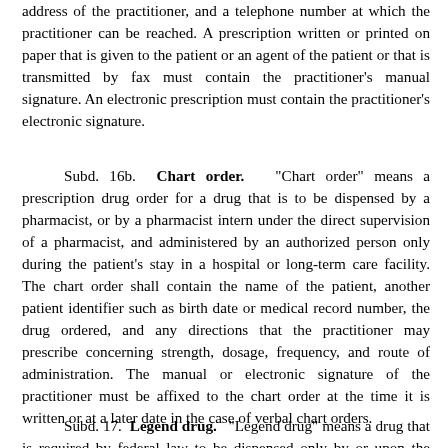address of the practitioner, and a telephone number at which the practitioner can be reached. A prescription written or printed on paper that is given to the patient or an agent of the patient or that is transmitted by fax must contain the practitioner's manual signature. An electronic prescription must contain the practitioner's electronic signature.
Subd. 16b. Chart order. "Chart order" means a prescription drug order for a drug that is to be dispensed by a pharmacist, or by a pharmacist intern under the direct supervision of a pharmacist, and administered by an authorized person only during the patient's stay in a hospital or long-term care facility. The chart order shall contain the name of the patient, another patient identifier such as birth date or medical record number, the drug ordered, and any directions that the practitioner may prescribe concerning strength, dosage, frequency, and route of administration. The manual or electronic signature of the practitioner must be affixed to the chart order at the time it is written or at a later date in the case of verbal chart orders.
Subd. 17. Legend drug. "Legend drug" means a drug that is required by federal law to be dispensed only by or upon the order of a practitioner.